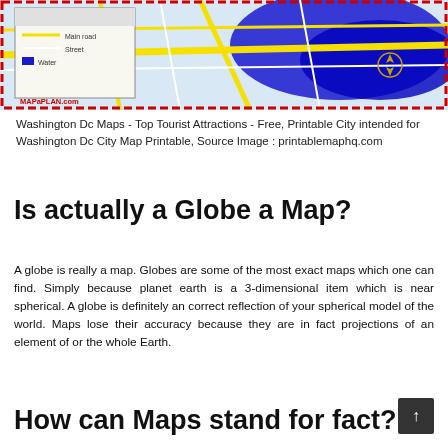[Figure (map): A colorful street map of Washington DC showing roads, landmarks, and city layout with a red dashed border. A legend/thumbnail is shown in the upper left corner with MAPaPLAN.com branding.]
Washington Dc Maps - Top Tourist Attractions - Free, Printable City intended for Washington Dc City Map Printable, Source Image : printablemaphq.com
Is actually a Globe a Map?
A globe is really a map. Globes are some of the most exact maps which one can find. Simply because planet earth is a 3-dimensional item which is near spherical. A globe is definitely an correct reflection of your spherical model of the world. Maps lose their accuracy because they are in fact projections of an element of or the whole Earth.
How can Maps stand for fact?